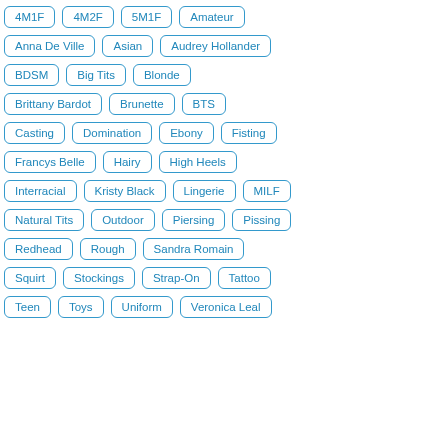4M1F
4M2F
5M1F
Amateur
Anna De Ville
Asian
Audrey Hollander
BDSM
Big Tits
Blonde
Brittany Bardot
Brunette
BTS
Casting
Domination
Ebony
Fisting
Francys Belle
Hairy
High Heels
Interracial
Kristy Black
Lingerie
MILF
Natural Tits
Outdoor
Piersing
Pissing
Redhead
Rough
Sandra Romain
Squirt
Stockings
Strap-On
Tattoo
Teen
Toys
Uniform
Veronica Leal